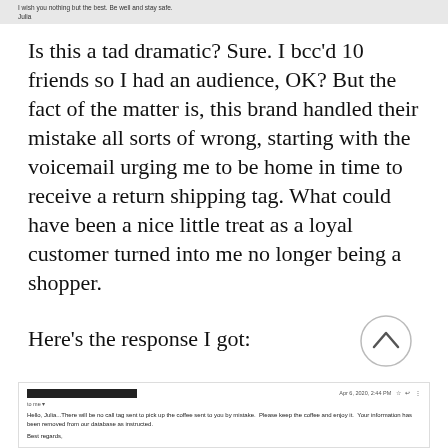I wish you nothing but the best. Be well and stay safe.
Julia
Is this a tad dramatic? Sure. I bcc'd 10 friends so I had an audience, OK? But the fact of the matter is, this brand handled their mistake all sorts of wrong, starting with the voicemail urging me to be home in time to receive a return shipping tag. What could have been a nice little treat as a loyal customer turned into me no longer being a shopper.
Here's the response I got:
[Figure (screenshot): An upward-pointing chevron arrow inside a circle, used as a scroll-up or navigation button.]
Apr 6, 2020, 2:44 PM
to me
Hello, Julia...There will be no call tag sent to pick up the coffee sent to you by mistake. Please keep the coffee and enjoy it. Your information has been removed from our database as instructed.

Best regards,